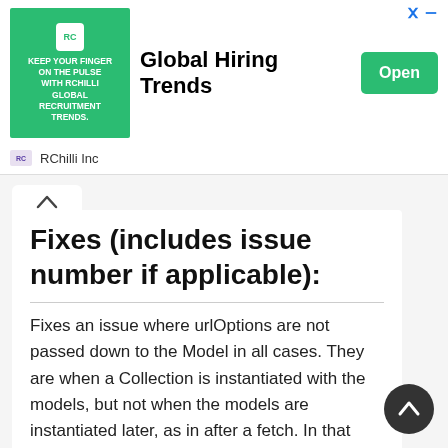[Figure (other): Advertisement banner for RChilli Inc - Global Hiring Trends with green image, title, and Open button]
Fixes (includes issue number if applicable):
Fixes an issue where urlOptions are not passed down to the Model in all cases. They are when a Collection is instantiated with the models, but not when the models are instantiated later, as in after a fetch. In that case, the urlOptions set on the collection